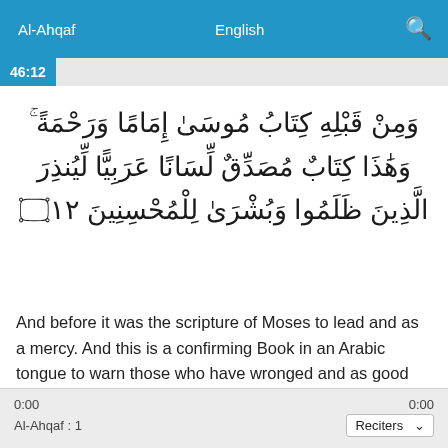Al-Ahqaf   English
46:12
وَمِنْ قَبْلِهِ كِتَابُ مُوسَىٰ إِمَامًا وَرَحْمَةً ۚ وَهَٰذَا كِتَابٌ مُصَدِّقٌ لِسَانًا عَرَبِيًّا لِيُنذِرَ الَّذِينَ ظَلَمُوا وَبُشْرَىٰ لِلْمُحْسِنِينَ ۞‏١٢
And before it was the scripture of Moses to lead and as a mercy. And this is a confirming Book in an Arabic tongue to warn those who have wronged and as good tidings to the doers of good.
0:00   0:00   Al-Ahqaf : 1   Reciters